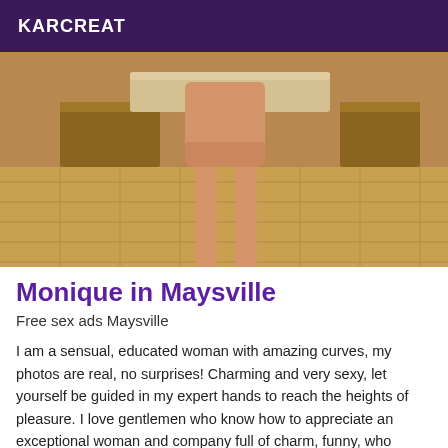KARCREAT
[Figure (photo): A photograph showing a person from behind, standing in a room with tiled floor and wooden furniture in the background.]
Monique in Maysville
Free sex ads Maysville
I am a sensual, educated woman with amazing curves, my photos are real, no surprises! Charming and very sexy, let yourself be guided in my expert hands to reach the heights of pleasure. I love gentlemen who know how to appreciate an exceptional woman and company full of charm, funny, who receives in a refined and discreet